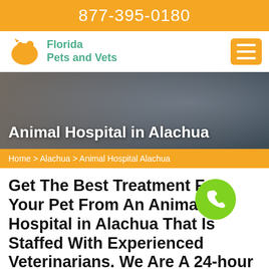877-395-0180
[Figure (logo): Florida Pets and Vets logo with orange pet silhouette icon and green text]
[Figure (photo): Veterinarian in blue scrubs holding a dog (appears to be a pug/bulldog) — hero banner image with dark overlay]
Animal Hospital in Alachua
Home > Alachua > Animal Hospital Alachua
Get The Best Treatment For Your Pet From An Animal Hospital in Alachua That Is Staffed With Experienced Veterinarians. We Are A 24-hour Pet Animal Hospital